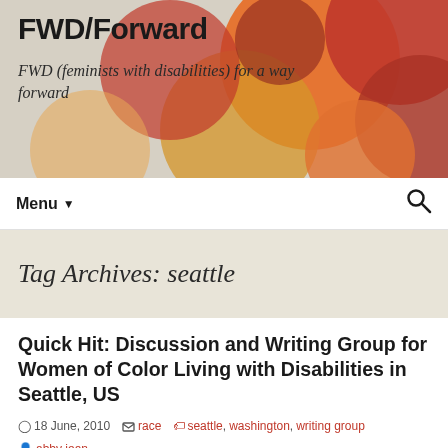FWD/Forward
FWD (feminists with disabilities) for a way forward
[Figure (illustration): Decorative header background with overlapping circles in shades of red, orange, dark red, and gold on a warm beige/grey background]
Menu ▾
Tag Archives: seattle
Quick Hit: Discussion and Writing Group for Women of Color Living with Disabilities in Seattle, US
18 June, 2010  race  seattle, washington, writing group  abby jean